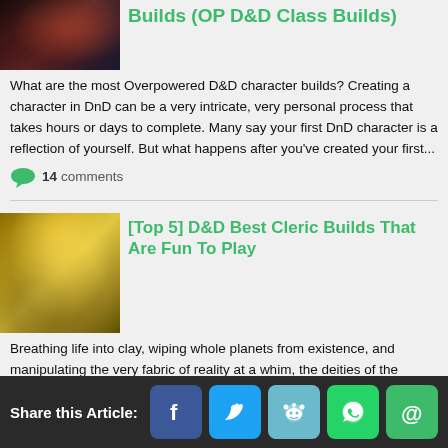Builds (OP D&D Class Builds)
What are the most Overpowered D&D character builds? Creating a character in DnD can be a very intricate, very personal process that takes hours or days to complete. Many say your first DnD character is a reflection of yourself. But what happens after you've created your first...
14 comments
[Top 5] D&D Best Cleric Builds That Are Fun To Play
Breathing life into clay, wiping whole planets from existence, and manipulating the very fabric of reality at a whim, the deities of the multiverse are palpable forces that drive reality, and you, my most devout ready, are the instrument of their designs. Whether you're the zealot of an ancient...
0 comments
Share this Article: